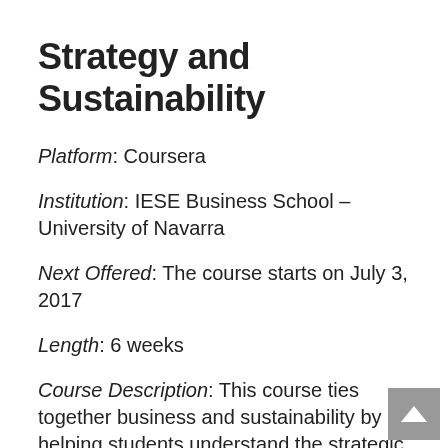Strategy and Sustainability
Platform: Coursera
Institution: IESE Business School – University of Navarra
Next Offered: The course starts on July 3, 2017
Length: 6 weeks
Course Description: This course ties together business and sustainability by helping students understand the strategic issues and options, different industry perspectives, and how to